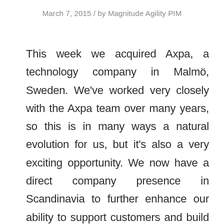March 7, 2015 / by Magnitude Agility PIM
This week we acquired Axpa, a technology company in Malmö, Sweden. We've worked very closely with the Axpa team over many years, so this is in many ways a natural evolution for us, but it's also a very exciting opportunity. We now have a direct company presence in Scandinavia to further enhance our ability to support customers and build a partner network in the region.